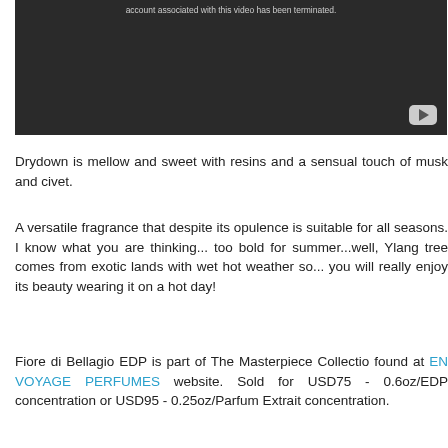[Figure (screenshot): Embedded video player showing a dark/black screen with error text 'account associated with this video has been terminated.' and a YouTube play button in the bottom right corner.]
Drydown is mellow and sweet with resins and a sensual touch of musk and civet.
A versatile fragrance that despite its opulence is suitable for all seasons. I know what you are thinking... too bold for summer...well, Ylang tree comes from exotic lands with wet hot weather so... you will really enjoy its beauty wearing it on a hot day!
Fiore di Bellagio EDP is part of The Masterpiece Collection found at EN VOYAGE PERFUMES website. Sold for USD75 - 0.6oz/EDP concentration or USD95 - 0.25oz/Parfum Extrait concentration.